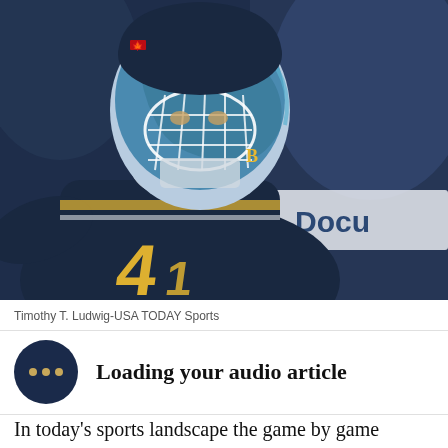[Figure (photo): Hockey goalie wearing a blue and gold jersey with number 41, and a decoratively painted goalie mask with blue/teal artwork, photographed close-up during a game with blurred arena background including a DocuSign advertisement board.]
Timothy T. Ludwig-USA TODAY Sports
Loading your audio article
In today's sports landscape the game by game reactions (conversations in sports news) is about